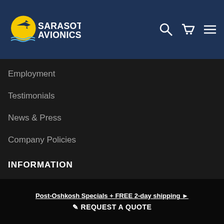Sarasota Avionics
Employment
Testimonials
News & Press
Company Policies
INFORMATION
Aircraft Panel Gallery
Shipping Options
Post-Oshkosh Specials + FREE 2-day shipping ▶  ✏ REQUEST A QUOTE